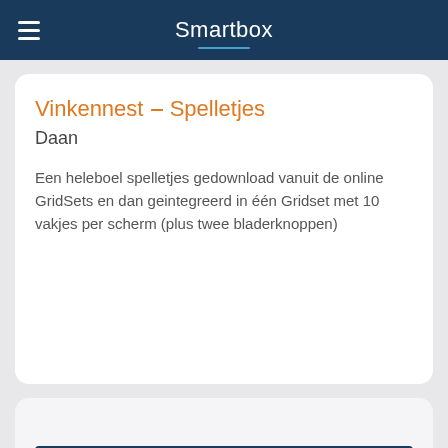Smartbox
Vinkennest – Spelletjes
Daan
Een heleboel spelletjes gedownload vanuit de online GridSets en dan geintegreerd in één Gridset met 10 vakjes per scherm (plus twee bladerknoppen)